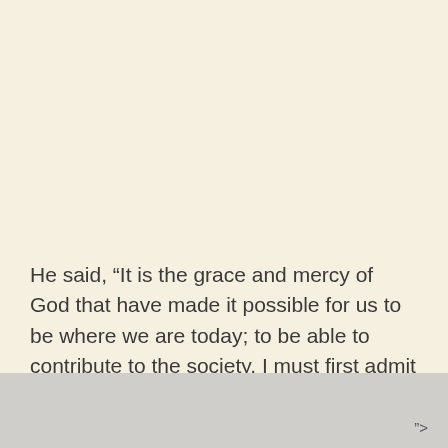He said, “It is the grace and mercy of God that have made it possible for us to be where we are today; to be able to contribute to the society. I must first admit that my brother, Aiyefele, has contributed and he is still contributing immensely to the society. As government, it is our duty to
">